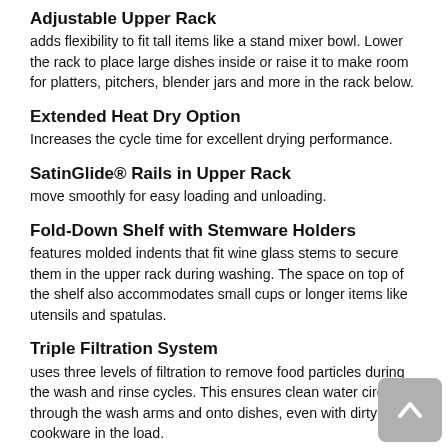Adjustable Upper Rack
adds flexibility to fit tall items like a stand mixer bowl. Lower the rack to place large dishes inside or raise it to make room for platters, pitchers, blender jars and more in the rack below.
Extended Heat Dry Option
Increases the cycle time for excellent drying performance.
SatinGlide® Rails in Upper Rack
move smoothly for easy loading and unloading.
Fold-Down Shelf with Stemware Holders
features molded indents that fit wine glass stems to secure them in the upper rack during washing. The space on top of the shelf also accommodates small cups or longer items like utensils and spatulas.
Triple Filtration System
uses three levels of filtration to remove food particles during the wash and rinse cycles. This ensures clean water circulates through the wash arms and onto dishes, even with dirty cookware in the load.
Leak Detection System